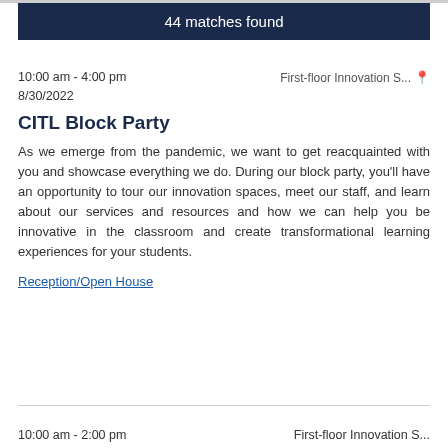44 matches found
10:00 am - 4:00 pm
8/30/2022
First-floor Innovation S...
CITL Block Party
As we emerge from the pandemic, we want to get reacquainted with you and showcase everything we do. During our block party, you’ll have an opportunity to tour our innovation spaces, meet our staff, and learn about our services and resources and how we can help you be innovative in the classroom and create transformational learning experiences for your students.
Reception/Open House
10:00 am - 2:00 pm
First-floor Innovation S...